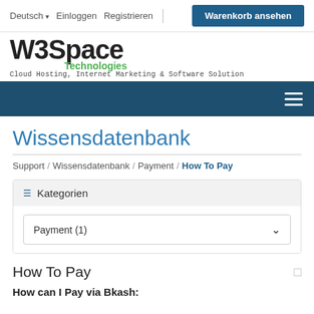Deutsch | Einloggen | Registrieren | Warenkorb ansehen
[Figure (logo): W3Space Technologies logo with tagline: Cloud Hosting, Internet Marketing & Software Solution]
Navigation hamburger menu
Wissensdatenbank
Support / Wissensdatenbank / Payment / How To Pay
Kategorien
Payment (1)
How To Pay
How can I Pay via Bkash: